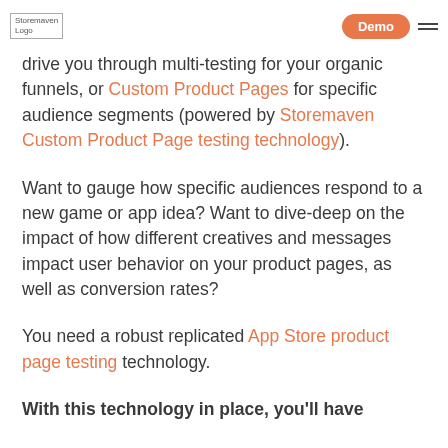Storemaven Logo | Demo button | hamburger menu
drive you through multi-testing for your organic funnels, or Custom Product Pages for specific audience segments (powered by Storemaven Custom Product Page testing technology).
Want to gauge how specific audiences respond to a new game or app idea? Want to dive-deep on the impact of how different creatives and messages impact user behavior on your product pages, as well as conversion rates?
You need a robust replicated App Store product page testing technology.
With this technology in place, you'll have